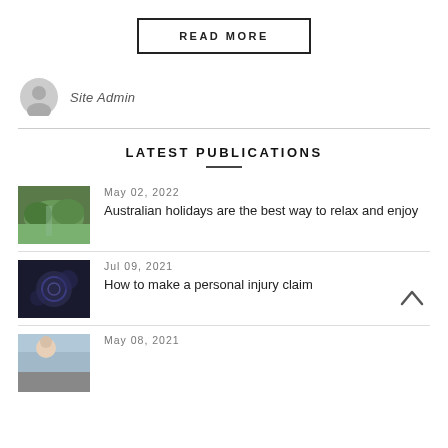READ MORE
Site Admin
LATEST PUBLICATIONS
May 02, 2022
Australian holidays are the best way to relax and enjoy
Jul 09, 2021
How to make a personal injury claim
May 08, 2021